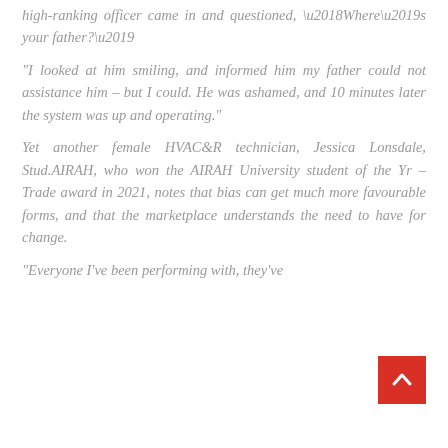high-ranking officer came in and questioned, ‘Where’s your father?’
“I looked at him smiling, and informed him my father could not assistance him – but I could. He was ashamed, and 10 minutes later the system was up and operating.”
Yet another female HVAC&R technician, Jessica Lonsdale, Stud.AIRAH, who won the AIRAH University student of the Yr – Trade award in 2021, notes that bias can get much more favourable forms, and that the marketplace understands the need to have for change.
“Everyone I’ve been performing with, they’ve